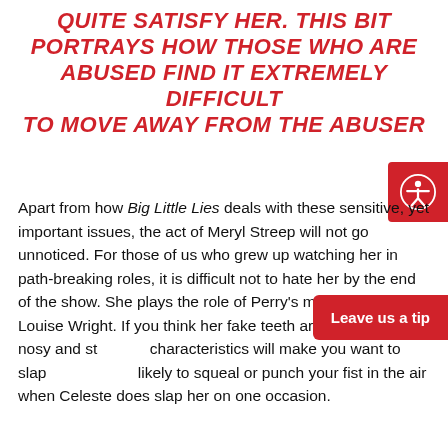QUITE SATISFY HER. THIS BIT PORTRAYS HOW THOSE WHO ARE ABUSED FIND IT EXTREMELY DIFFICULT TO MOVE AWAY FROM THE ABUSER
Apart from how Big Little Lies deals with these sensitive, yet important issues, the act of Meryl Streep will not go unnoticed. For those of us who grew up watching her in path-breaking roles, it is difficult not to hate her by the end of the show. She plays the role of Perry's mother, Mary Louise Wright. If you think her fake teeth are annoying, her nosy and stubborn characteristics will make you want to slap her. You are likely to squeal or punch your fist in the air when Celeste does slap her on one occasion.